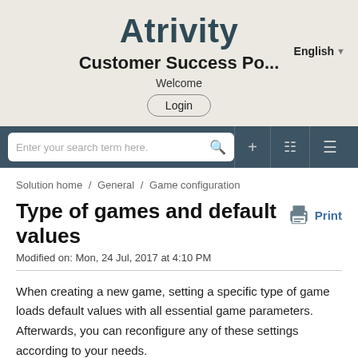Atrivity
Customer Success Po...
Welcome
Login
English
Enter your search term here.
Solution home / General / Game configuration
Type of games and default values
Print
Modified on: Mon, 24 Jul, 2017 at 4:10 PM
When creating a new game, setting a specific type of game loads default values with all essential game parameters. Afterwards, you can reconfigure any of these settings according to your needs.